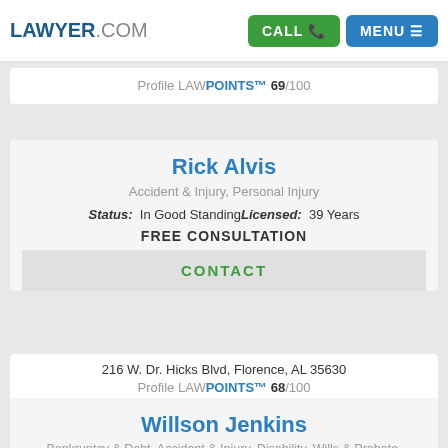LAWYER.COM | CALL | MENU
Profile LAWPOINTS™ 69/100
Rick Alvis
Accident & Injury, Personal Injury
Status: In Good Standing Licensed: 39 Years
FREE CONSULTATION
CONTACT
216 W. Dr. Hicks Blvd, Florence, AL 35630
Profile LAWPOINTS™ 68/100
Willson Jenkins
Bankruptcy & Debt, Accident & Injury, Disability, Wills & Probate, Business
Status: In Good Standing Licensed: 34 Years
FREE CONSULTATION
CONTACT